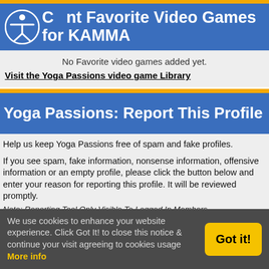Current Favorite Video Games for KAMMA
No Favorite video games added yet.
Visit the Yoga Passions video game Library
Yoga Passions: Report This Profile
Help us keep Yoga Passions free of spam and fake profiles.

If you see spam, fake information, nonsense information, offensive information or an empty profile, please click the button below and enter your reason for reporting this profile. It will be reviewed promptly.
Note: Reporting Tool Only Visible To Logged In Members
Keep Scrolling ☺
We use cookies to enhance your website experience. Click Got It! to close this notice & continue your visit agreeing to cookies usage More info